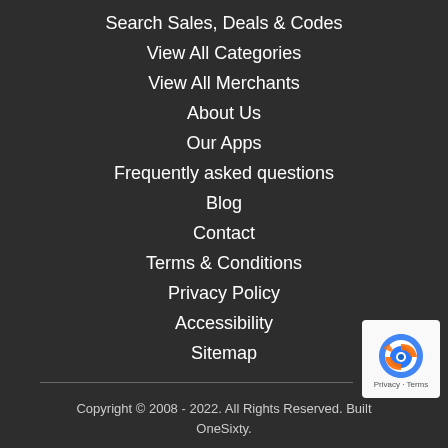Search Sales, Deals & Codes
View All Categories
View All Merchants
About Us
Our Apps
Frequently asked questions
Blog
Contact
Terms & Conditions
Privacy Policy
Accessibility
Sitemap
Copyright © 2008 - 2022. All Rights Reserved. Built OneSixty.